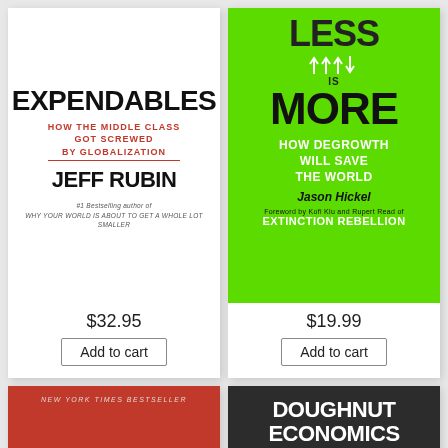[Figure (illustration): Book cover: Expendables - How the Middle Class Got Screwed by Globalization by Jeff Rubin]
$32.95
Add to cart
[Figure (illustration): Book cover: Less is More - How Degrowth Will Save the World by Jason Hickel, Foreword by Kofi Klu and Rupert Read of Extinction Rebellion]
$19.99
Add to cart
[Figure (illustration): Book cover: On Fire - New York Times Bestseller, red background with flame graphic]
[Figure (illustration): Book cover: Doughnut Economics - Seven Ways to Think Like a 21st-Century Economist, dark background with arc graphic]